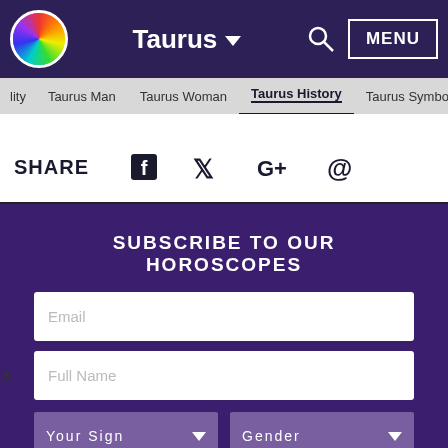Taurus — MENU navigation header with logo
lity | Taurus Man | Taurus Woman | Taurus History | Taurus Symbo
SHARE
[Figure (infographic): Social share icons: Facebook, Twitter, Google+, Email (@)]
SUBSCRIBE TO OUR HOROSCOPES
Email
Full Name
Your Sign
Gender
Subscribe to our Horoscopes Weekly and Monthly Horoscopes Free Delivery to your Mailbox. Subscribe Now